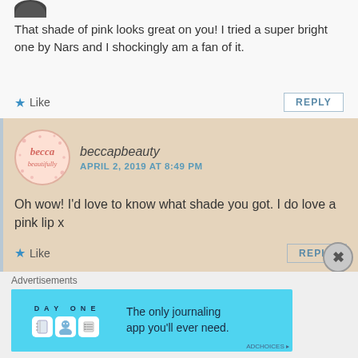[Figure (photo): Partial avatar/profile photo at top left, showing bottom of a dark-haired person]
That shade of pink looks great on you! I tried a super bright one by Nars and I shockingly am a fan of it.
★ Like   REPLY
beccapbeauty
APRIL 2, 2019 AT 8:49 PM
[Figure (logo): Circular beccapbeauty logo avatar with pink lettering on light pink polka-dot background]
Oh wow! I'd love to know what shade you got. I do love a pink lip x
★ Like   REPLY
Advertisements
[Figure (screenshot): Day One journaling app advertisement banner — blue background with app icons and text 'The only journaling app you'll ever need.']